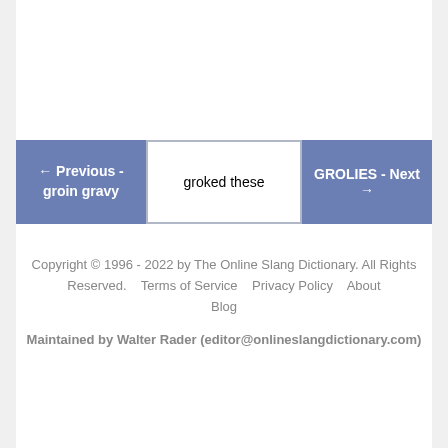← Previous - groin gravy | groked these | GROLIES - Next →
Copyright © 1996 - 2022 by The Online Slang Dictionary. All Rights Reserved.    Terms of Service    Privacy Policy    About    Blog
Maintained by Walter Rader (editor@onlineslangdictionary.com)